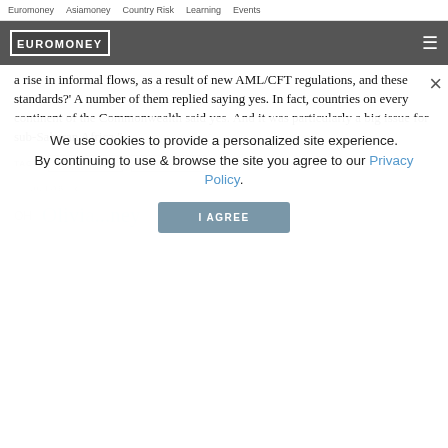Euromoney   Asiamoney   Country Risk   Learning   Events
EUROMONEY
a rise in informal flows, as a result of new AML/CFT regulations, and these standards?' A number of them replied saying yes. In fact, countries on every continent of the Commonwealth said yes. And it was particularly a big issue for sub-Saharan Africa."
TAGS   FINTECH   BANKING
OCTOBER
OH   Olivia...ney
We use cookies to provide a personalized site experience.
By continuing to use & browse the site you agree to our Privacy Policy.
I AGREE